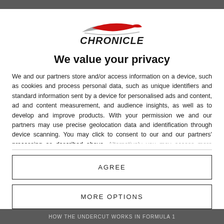[Figure (logo): Chronicle automotive logo with a stylized car silhouette in red and gray above the word CHRONICLE in bold italic font]
We value your privacy
We and our partners store and/or access information on a device, such as cookies and process personal data, such as unique identifiers and standard information sent by a device for personalised ads and content, ad and content measurement, and audience insights, as well as to develop and improve products. With your permission we and our partners may use precise geolocation data and identification through device scanning. You may click to consent to our and our partners' processing as described above. Alternatively you may access more ...
AGREE
MORE OPTIONS
HOW THE UNDERCUT WORKS IN FORMULA 1